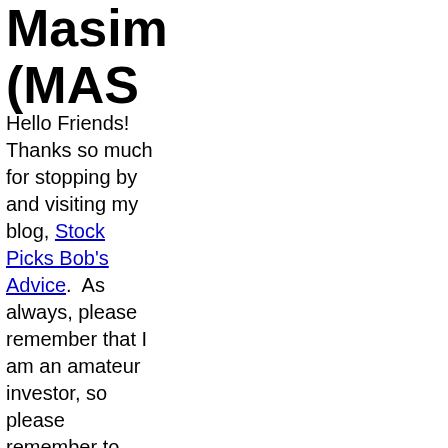Masim (MASH
Hello Friends!  Thanks so much for stopping by and visiting my blog, Stock Picks Bob's Advice.  As always, please remember that I am an amateur investor, so please remember to consult with your